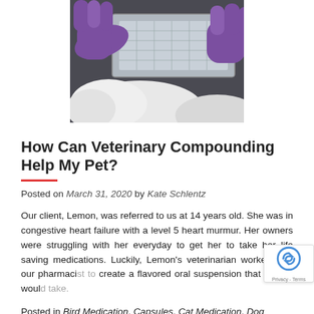[Figure (photo): Hands wearing purple gloves handling a metal tray with pharmaceutical vials/capsules in a compounding pharmacy or lab setting]
How Can Veterinary Compounding Help My Pet?
Posted on March 31, 2020 by Kate Schlentz
Our client, Lemon, was referred to us at 14 years old. She was in congestive heart failure with a level 5 heart murmur. Her owners were struggling with her everyday to get her to take her life saving medications. Luckily, Lemon's veterinarian worked with our pharmaci... create a flavored oral suspension that Lemon woul...
Posted in Bird Medication, Capsules, Cat Medication, Dog Medication, Exotic Creatures, Treats, Exotic Pets, Flavored...